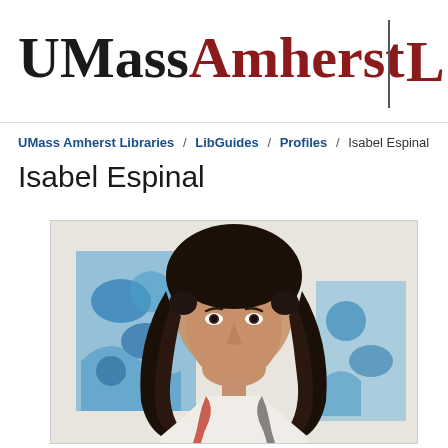UMass Amherst | L
UMass Amherst Libraries / LibGuides / Profiles / Isabel Espinal
Isabel Espinal
[Figure (photo): Portrait photo of Isabel Espinal, a woman with long curly dark hair, wearing a patterned top, with colorful blue artwork visible in the background.]